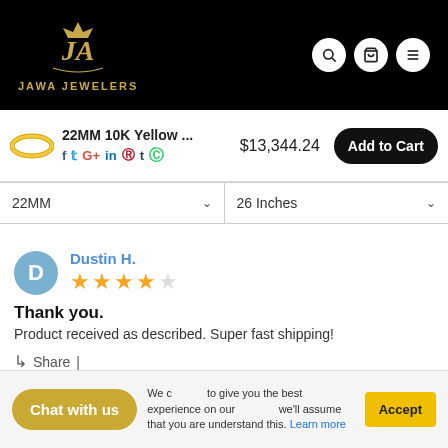[Figure (logo): Jawa Jewelers logo - gold stylized JR monogram on black background with text JAWA JEWELERS]
22MM 10K Yellow ... $13,344.24 Add to Cart
22MM | 26 Inches (dropdowns)
Dustin H.
★★★★☆ (4 stars out of 5)
Thank you.
Product received as described. Super fast shipping!
Share |
Chat with us
We [use cookies] to give you the best experience on our [website.] we'll assume that you are understand this. Learn more
Accept